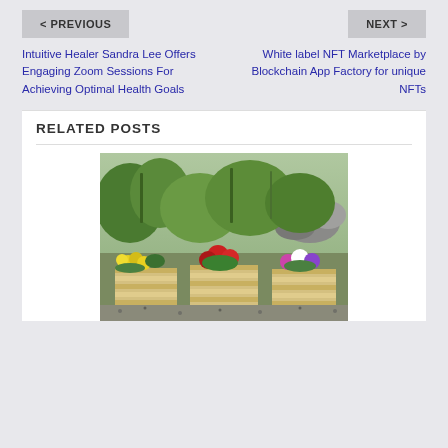< PREVIOUS
NEXT >
Intuitive Healer Sandra Lee Offers Engaging Zoom Sessions For Achieving Optimal Health Goals
White label NFT Marketplace by Blockchain App Factory for unique NFTs
RELATED POSTS
[Figure (photo): Photo of three wooden planter boxes filled with colorful flowers including yellow pansies, red flowers, and purple flowers, set against a garden background with rocks and greenery.]